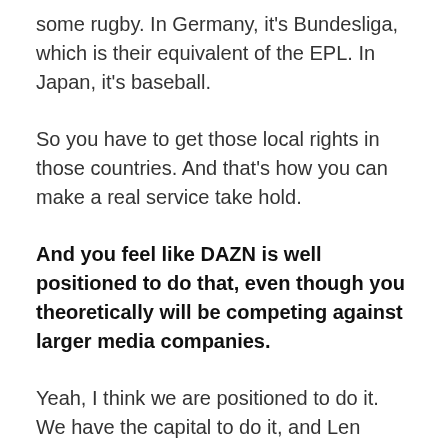some rugby. In Germany, it's Bundesliga, which is their equivalent of the EPL. In Japan, it's baseball.
So you have to get those local rights in those countries. And that's how you can make a real service take hold.
And you feel like DAZN is well positioned to do that, even though you theoretically will be competing against larger media companies.
Yeah, I think we are positioned to do it. We have the capital to do it, and Len Blavatnik is committed to it. And it's going to work.
It's a flywheel that happens. Once it starts spinning, you can create momentum. You get the rights, you get